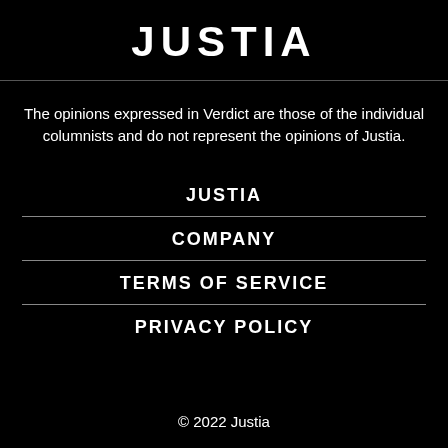JUSTIA
The opinions expressed in Verdict are those of the individual columnists and do not represent the opinions of Justia.
JUSTIA
COMPANY
TERMS OF SERVICE
PRIVACY POLICY
© 2022 Justia